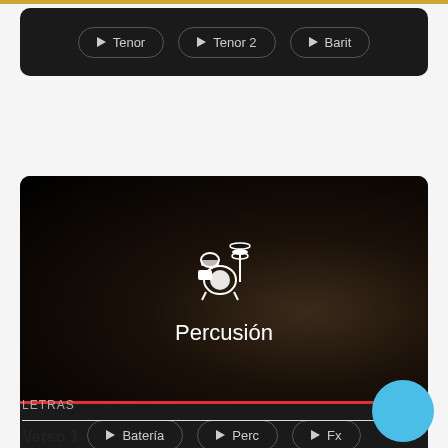[Figure (screenshot): Top navigation card with dark background showing three play buttons: Tenor, Tenor 2, Barit]
► Tenor
► Tenor 2
► Barit
[Figure (screenshot): Percussion section card with drum kit icon, Percusion label, red divider line, and three play buttons: Bateria, Perc, Fx]
Percusión
► Batería
► Perc
► Fx
LETRAS
Verso 1